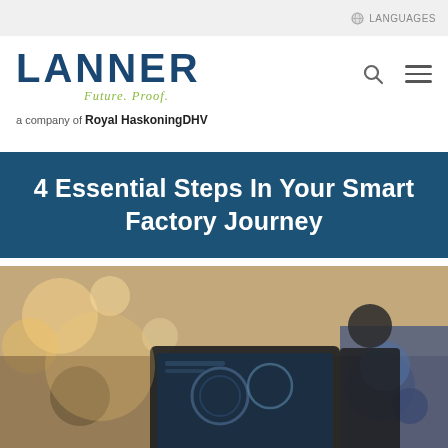LANGUAGES
[Figure (logo): Lanner logo with 'Future. Proof.' tagline and 'a company of Royal HaskoningDHV' text]
4 Essential Steps In Your Smart Factory Journey
[Figure (photo): A person in a dark suit looking at a laptop/tablet in an industrial factory setting with blurred machinery and warm bokeh lighting in the background]